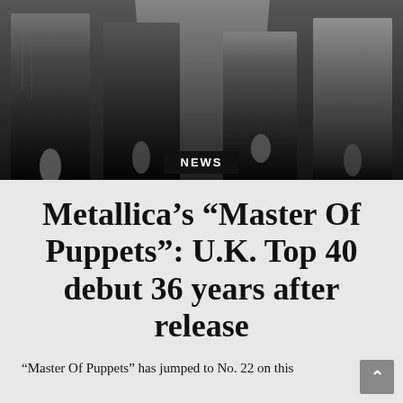[Figure (photo): Black and white photo of four people (band members) standing together, cropped at the torso/legs, wearing casual clothing including denim jacket, with a white/light background behind them]
NEWS
Metallica's “Master Of Puppets”: U.K. Top 40 debut 36 years after release
“Master Of Puppets” has jumped to No. 22 on this